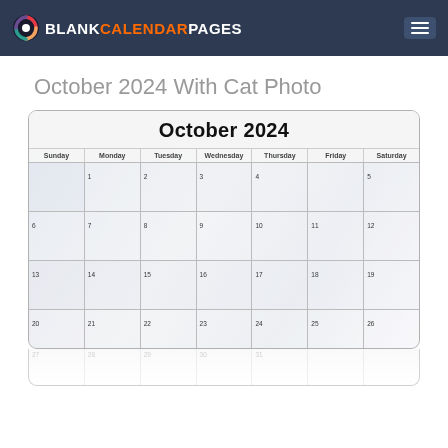BLANK CALENDAR PAGES
October 2024 With Cat Photo
[Figure (other): October 2024 monthly calendar with cat photo background. Shows a grid with days of the week (Sunday through Saturday) and dates 1-26 visible, with a faded cat photo watermark behind the date cells.]